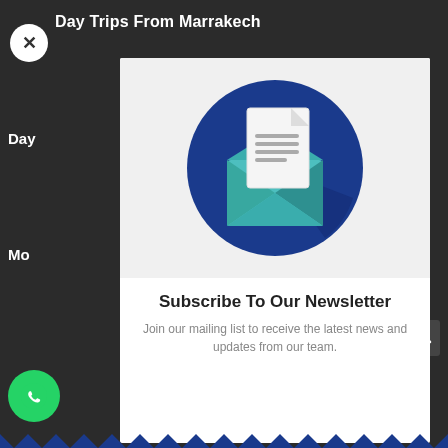Day Trips From Marrakech
[Figure (illustration): Newsletter subscription modal popup with a circular dark blue icon showing an open envelope with a document/letter coming out, on a light grey background.]
Subscribe To Our Newsletter
Join our mailing list to receive the latest news and updates from our team.